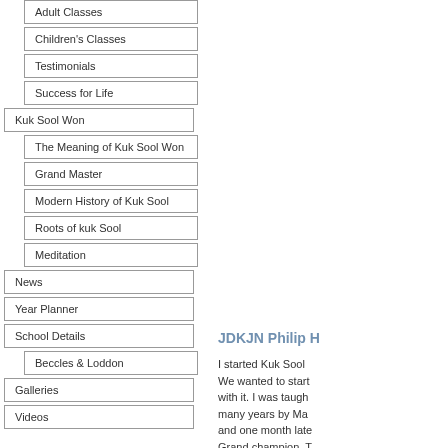Adult Classes
Children's Classes
Testimonials
Success for Life
Kuk Sool Won
The Meaning of Kuk Sool Won
Grand Master
Modern History of Kuk Sool
Roots of kuk Sool
Meditation
News
Year Planner
School Details
Beccles & Loddon
Galleries
Videos
JDKJN Philip H
I started Kuk Sool We wanted to start with it. I was taugh many years by Ma and one month late Grand champion. T was truly an honou
In 1990 I joined the to the prison staff